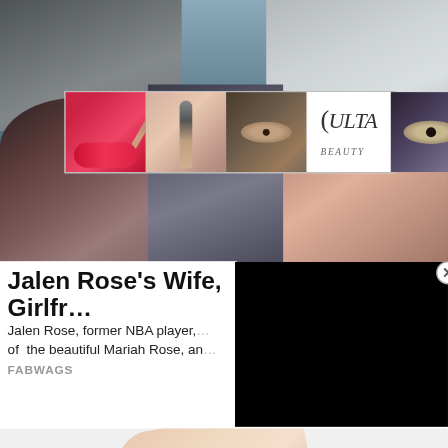[Figure (screenshot): Screenshot of a webpage with celebrity photo background showing two faces (dark-haired woman on left, smiling woman on right), overlaid with a Ulta Beauty advertisement banner showing makeup images (lips, brush, eye, Ulta logo, eye) and SHOP NOW button]
Jalen Rose's Wife, Girlfr… Goens/Krissy Tery
Jalen Rose, former NBA player, … of  the beautiful Mariah Rose, an…
FABWAGS
[Figure (screenshot): Black video/popup overlay with X close button in top-right corner]
[Figure (screenshot): Bottom section showing partial hand/cosmetic image with CLOSE button and orange arrow-up button, and another Ulta Beauty ad banner at bottom with same makeup thumbnails and SHOP NOW button]